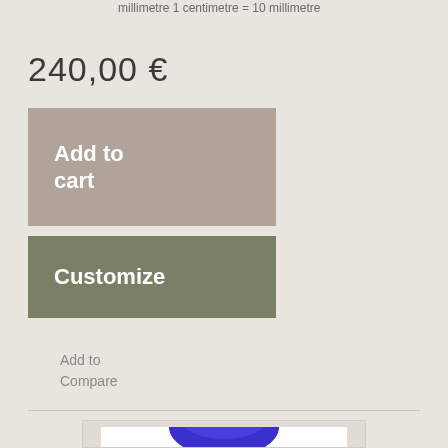millimetre 1 centimetre = 10 millimetre
240,00 €
Add to cart
Customize
Add to Compare
[Figure (photo): Product image showing a blue rounded object on white background inside a framed box]